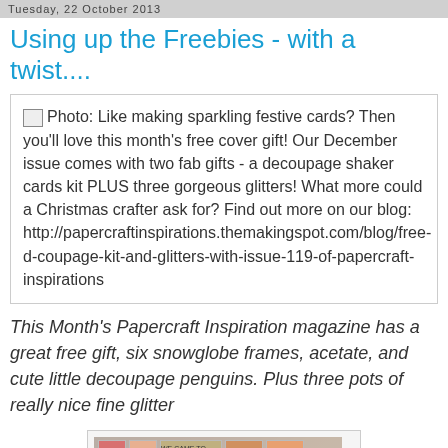Tuesday, 22 October 2013
Using up the Freebies - with a twist....
Photo: Like making sparkling festive cards? Then you'll love this month's free cover gift! Our December issue comes with two fab gifts - a decoupage shaker cards kit PLUS three gorgeous glitters! What more could a Christmas crafter ask for? Find out more on our blog: http://papercraftinspirations.themakingspot.com/blog/free-d-coupage-kit-and-glitters-with-issue-119-of-papercraft-inspirations
This Month's Papercraft Inspiration magazine has a great free gift, six snowglobe frames, acetate, and cute little decoupage penguins. Plus three pots of really nice fine glitter
[Figure (photo): Photo of Papercraft Inspirations magazine cover showing the red Papercraft Inspirations logo text on a brown/tan background with small thumbnail images at the top]